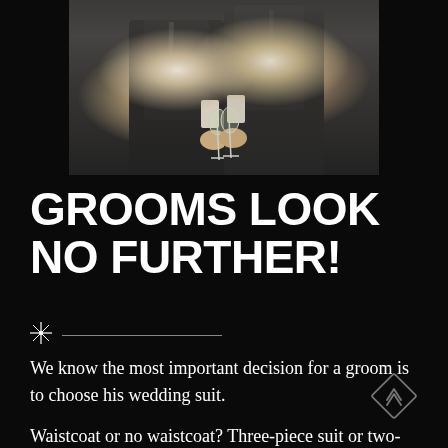[Figure (photo): Two grooms in dark suits toasting with champagne glasses, photographed from torso down, white background]
GROOMS LOOK NO FURTHER!
We know the most important decision for a groom is to choose his wedding suit.
Waistcoat or no waistcoat? Three-piece suit or two-piece?
[Figure (logo): Diamond-shaped geometric logo with upward chevron/arrow inside, gray outline on dark background]